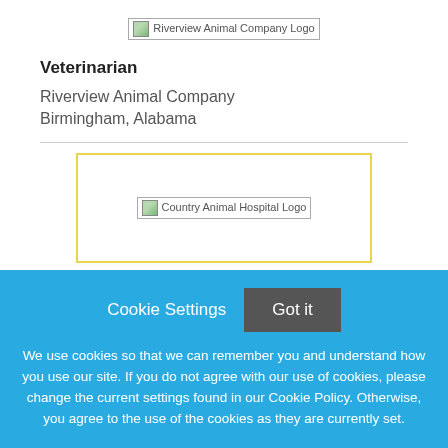[Figure (logo): Riverview Animal Company Logo — broken image placeholder with alt text]
Veterinarian
Riverview Animal Company
Birmingham, Alabama
[Figure (logo): Country Animal Hospital Logo — broken image placeholder with alt text]
Cookie Settings  Got it
We use cookies so that we can remember you and understand how you use our site. If you do not agree with our use of cookies, please change the current settings found in our Cookie Policy. Otherwise, you agree to the use of the cookies as they are currently set.